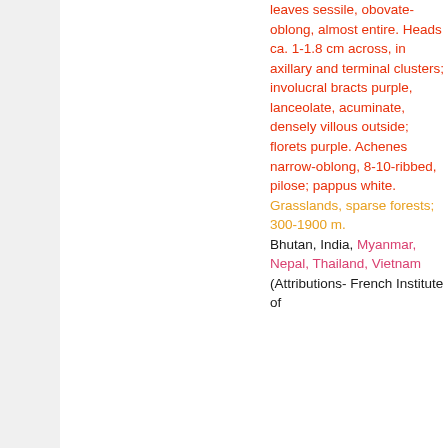leaves sessile, obovate-oblong, almost entire. Heads ca. 1-1.8 cm across, in axillary and terminal clusters; involucral bracts purple, lanceolate, acuminate, densely villous outside; florets purple. Achenes narrow-oblong, 8-10-ribbed, pilose; pappus white. Grasslands, sparse forests; 300-1900 m. Bhutan, India, Myanmar, Nepal, Thailand, Vietnam (Attributions- French Institute of